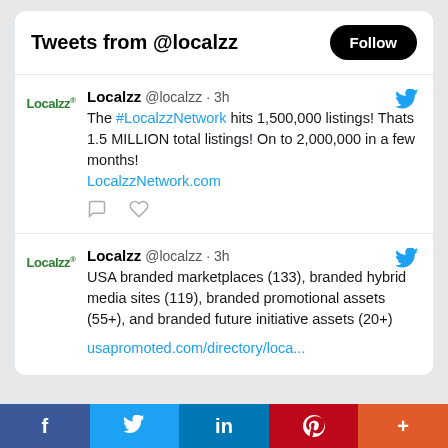Tweets from @localzz
Localzz @localzz · 3h
The #LocalzzNetwork hits 1,500,000 listings! Thats 1.5 MILLION total listings! On to 2,000,000 in a few months!
LocalzzNetwork.com
Localzz @localzz · 3h
USA branded marketplaces (133), branded hybrid media sites (119), branded promotional assets (55+), and branded future initiative assets (20+)
usapromoted.com/directory/loca...